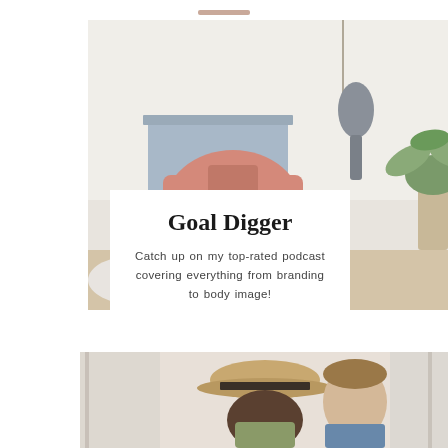[Figure (photo): Top decorative bar accent in muted rose/tan color]
[Figure (photo): Workspace/desk scene with pink headphones, blue book, microphone, and plant]
Goal Digger
Catch up on my top-rated podcast covering everything from branding to body image!
[Figure (photo): Two people, a woman with a tan hat and a man, appearing to share an intimate moment, in a bright indoor setting]